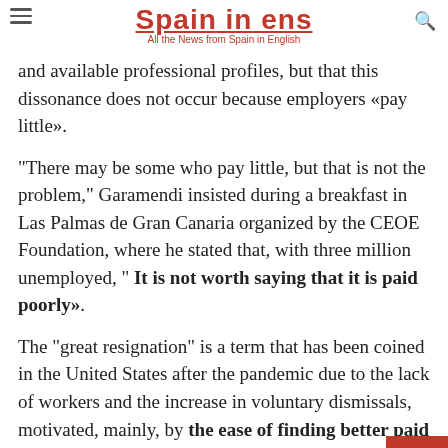Spain in English - All the News from Spain in English
and available professional profiles, but that this dissonance does not occur because employers «pay little».
"There may be some who pay little, but that is not the problem," Garamendi insisted during a breakfast in Las Palmas de Gran Canaria organized by the CEOE Foundation, where he stated that, with three million unemployed, "It is not worth saying that it is paid poorly».
The "great resignation" is a term that has been coined in the United States after the pandemic due to the lack of workers and the increase in voluntary dismissals, motivated, mainly, by the ease of finding better paid jobs or by the dissatisfaction of the workers with their wages.